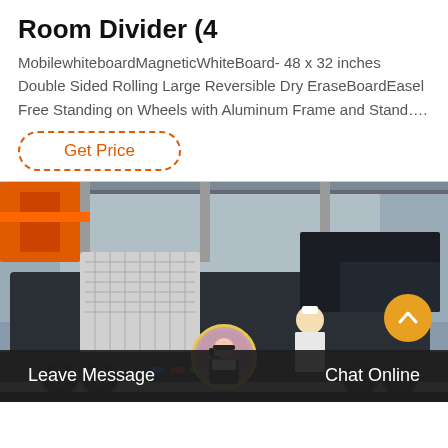Room Divider (4
MobilewhiteboardMagneticWhiteBoard- 48 x 32 inches Double Sided Rolling Large Reversible Dry EraseBoardEasel Free Standing on Wheels with Aluminum Frame and Stand….
Get Price
[Figure (photo): Industrial mobile crushing machine/equipment on a trailer, parked in what appears to be a factory or industrial yard. A person in a white hard hat and shirt stands in front of the machine.]
Leave Message   Chat Online